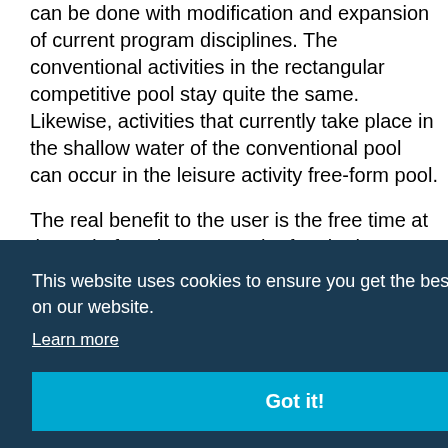can be done with modification and expansion of current program disciplines. The conventional activities in the rectangular competitive pool stay quite the same. Likewise, activities that currently take place in the shallow water of the conventional pool can occur in the leisure activity free-form pool.
The real benefit to the user is the free time at the end of each season. The fun, in-the-water [partially obscured] ...of ...eeling ...h
This website uses cookies to ensure you get the best experience on our website. Learn more
Got it!
[Figure (logo): Athletic Business magazine logo and cover image at bottom of page]